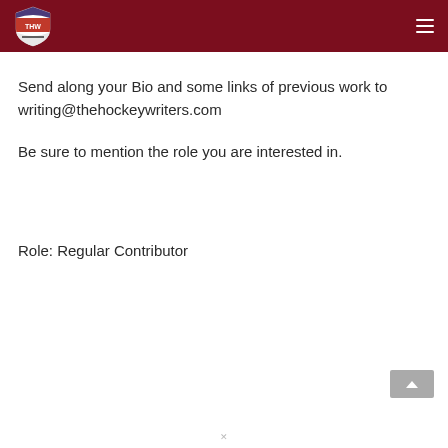THW - The Hockey Writers
Send along your Bio and some links of previous work to writing@thehockeywriters.com
Be sure to mention the role you are interested in.
Role: Regular Contributor